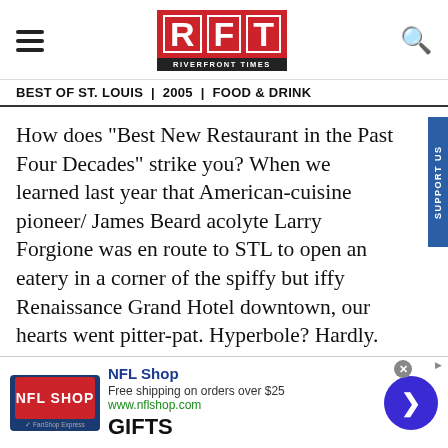[Figure (logo): RFT Riverfront Times logo with red background letters R, F, T and black subtitle bar]
BEST OF ST. LOUIS | 2005 | FOOD & DRINK
How does "Best New Restaurant in the Past Four Decades" strike you? When we learned last year that American-cuisine pioneer/ James Beard acolyte Larry Forgione was en route to STL to open an eatery in a corner of the spiffy but iffy Renaissance Grand Hotel downtown, our hearts went pitter-pat. Hyperbole? Hardly. Understand: a veritable star in our nation's culinary firmament setting up shop in St. Louis. Ask yourself: How many internationally recognized
[Figure (screenshot): NFL Shop advertisement banner with NFL Shop logo, Free shipping on orders over $25, www.nflshop.com, blue arrow button, and GIFTS text]